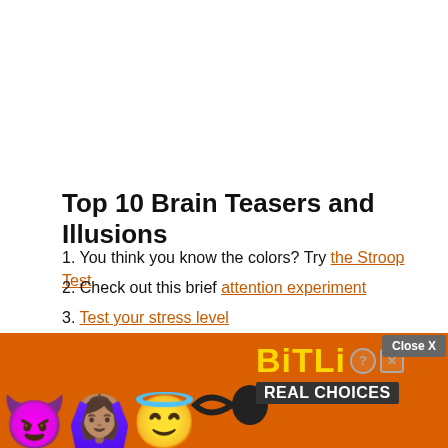Top 10 Brain Teasers and Illusions
You think you know the colors? Try the Stroop Test
Check out this brief attention experiment
Test your stress level
Guess: Are there more brain connections or leaves in the Amazon?
Quick brain teasers to flex two key mental muscles
Co...
Ca...
[Figure (screenshot): Advertisement banner overlay at bottom of page for BitLife game, orange background with emojis (devil, person raising hands, winking face with halo, snake/sperm emoji) and BitLife - Real Choices text in yellow, with Close X button]